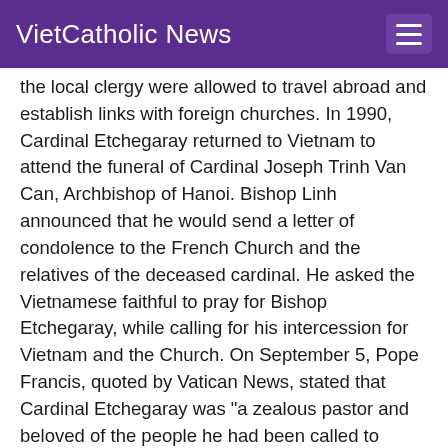VietCatholic News
the local clergy were allowed to travel abroad and establish links with foreign churches. In 1990, Cardinal Etchegaray returned to Vietnam to attend the funeral of Cardinal Joseph Trinh Van Can, Archbishop of Hanoi. Bishop Linh announced that he would send a letter of condolence to the French Church and the relatives of the deceased cardinal. He asked the Vietnamese faithful to pray for Bishop Etchegaray, while calling for his intercession for Vietnam and the Church. On September 5, Pope Francis, quoted by Vatican News, stated that Cardinal Etchegaray was "a zealous pastor and beloved of the people he had been called to serve."The pope also pointed out that he was an advisor listened to and appreciated, especially in difficult situations for the life of the Church in different parts of the world. He described the deceased cardinal as a man of peace and dialogue. The Holy Father also recounted the emotional memory of a striking figure of the French Church, with deep faith and a "look towards the ends of the earth, always on the alert when it came to announcing the Gospel to the most farflung. The f...